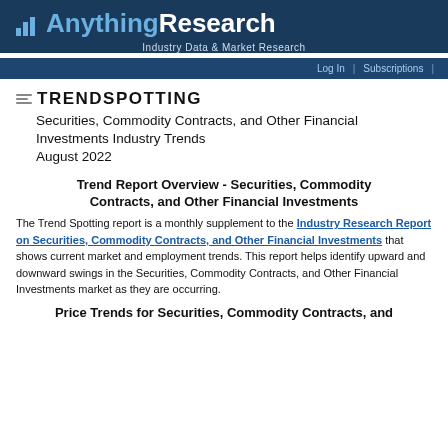AnythingResearch - Industry Data & Market Research | Log In | Subscriptions
[Figure (logo): TrendSpotting logo with horizontal lines icon]
Securities, Commodity Contracts, and Other Financial Investments Industry Trends August 2022
Trend Report Overview - Securities, Commodity Contracts, and Other Financial Investments
The Trend Spotting report is a monthly supplement to the Industry Research Report on Securities, Commodity Contracts, and Other Financial Investments that shows current market and employment trends. This report helps identify upward and downward swings in the Securities, Commodity Contracts, and Other Financial Investments market as they are occurring.
Price Trends for Securities, Commodity Contracts, and